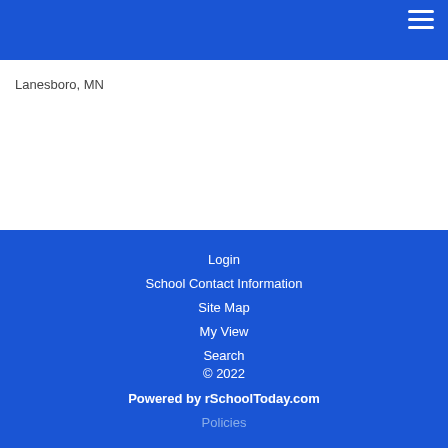[Figure (screenshot): Blue navigation header bar with hamburger menu icon in top right corner]
Lanesboro, MN
Login
School Contact Information
Site Map
My View
Search
© 2022
Powered by rSchoolToday.com
Policies